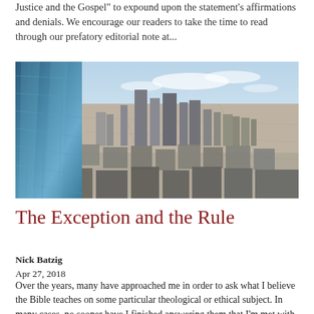Justice and the Gospel" to expound upon the statement's affirmations and denials. We encourage our readers to take the time to read through our prefatory editorial note at...
[Figure (photo): Aerial cityscape photograph showing a dense urban skyline with skyscrapers and city blocks extending to the horizon. A glass building facade is visible on the left edge. Clear sky with light clouds in the background.]
The Exception and the Rule
Nick Batzig
Apr 27, 2018
Over the years, many have approached me in order to ask what I believe the Bible teaches on some particular theological or ethical subject. In many cases, no sooner have I finished answering them that I'm met with the reply, "But what about...?" All of us are eager to find an exception to the rule.